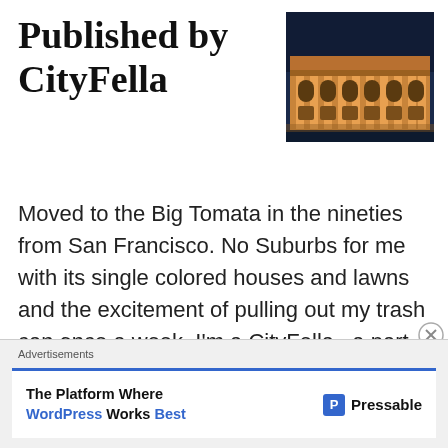Published by CityFella
[Figure (photo): Night photo of a classical building with illuminated columns and arched windows, lit in warm orange light against a dark blue sky]
Moved to the Big Tomata in the nineties from San Francisco. No Suburbs for me with its single colored houses and lawns and the excitement of pulling out my trash can once a week. I'm a CityFella , a part time New Yorker. I'm happiest in the Center City where people the streets and people are alive. I'm still
Advertisements
The Platform Where WordPress Works Best